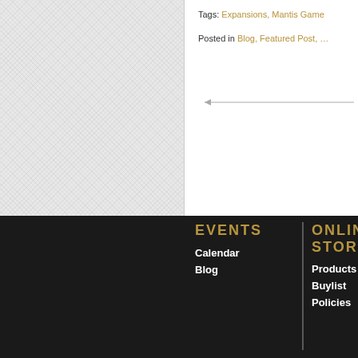Tags: Expansions, Mantis Game…
Posted in Blog, Featured Post, …
EVENTS
Calendar
Blog
ONLINE STORE
Products
Buylist
Policies